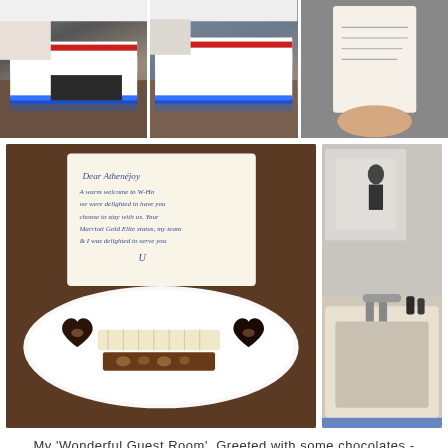[Figure (photo): Three hotel room photos side by side: modern bedroom with blue LED lighting under bed, same bedroom from slightly different angle, and person holding a document/paper]
[Figure (photo): Two hotel photos: left shows a welcome note with chocolates on a white plate (two heart-shaped chocolates and a chocolate bar); right shows a marble bathroom with bathtub]
My 'Wonderful Guest Room'. Greeted with some chocolates - Thanks to my Gold Status on Marriott Bonvoy
COVID Safety